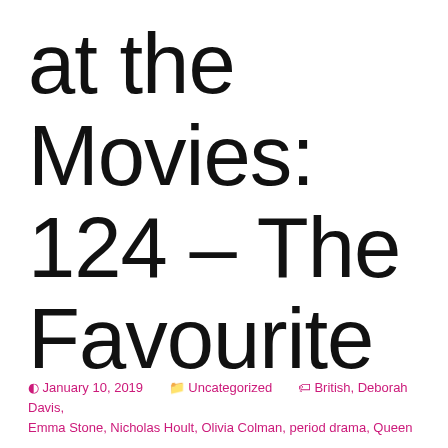at the Movies: 124 – The Favourite
January 10, 2019   Uncategorized   British, Deborah Davis, Emma Stone, Nicholas Hoult, Olivia Colman, period drama, Queen